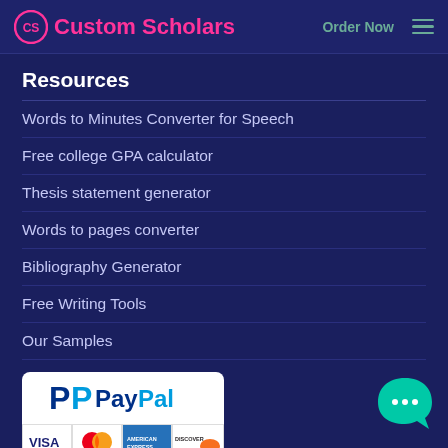Custom Scholars  Order Now
Resources
Words to Minutes Converter for Speech
Free college GPA calculator
Thesis statement generator
Words to pages converter
Bibliography Generator
Free Writing Tools
Our Samples
[Figure (logo): PayPal logo with Visa, Mastercard, American Express, Discover payment icons]
[Figure (illustration): Teal chat bubble with three dots (chat widget)]